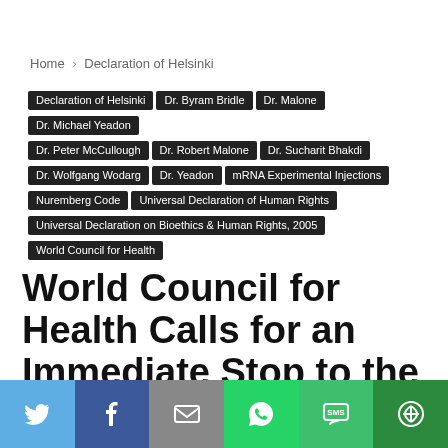Home › Declaration of Helsinki
Declaration of Helsinki
Dr. Byram Bridle
Dr. Malone
Dr. Michael Yeadon
Dr. Peter McCullough
Dr. Robert Malone
Dr. Sucharit Bhakdi
Dr. Wolfgang Wodarg
Dr. Yeadon
mRNA Experimental Injections
Nuremberg Code
Universal Declaration of Human Rights
Universal Declaration on Bioethics & Human Rights, 2005
World Council for Health
World Council for Health Calls for an Immediate Stop to the Covid-19 Experimental “Vaccines”
[Figure (infographic): Social share bar with icons for Twitter, Facebook, Email, WhatsApp, SMS, and More]